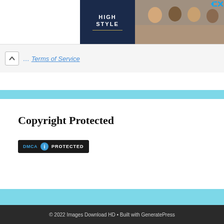[Figure (screenshot): Advertisement banner with dark navy left panel reading HIGH STYLE with a gold underline, and photo of people dining on the right. Close button (triangle and X) in top right.]
Terms of Service
Copyright Protected
[Figure (logo): DMCA PROTECTED badge — dark background with DMCA in blue, shield/info icon, and PROTECTED in white text]
© 2022 Images Download HD • Built with GeneratePress